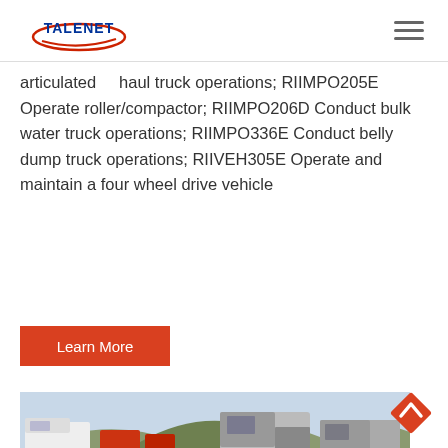TALENET [logo] [hamburger menu]
articulated haul truck operations; RIIMPO205E Operate roller/compactor; RIIMPO206D Conduct bulk water truck operations; RIIMPO336E Conduct belly dump truck operations; RIIVEH305E Operate and maintain a four wheel drive vehicle
Learn More
[Figure (photo): Trucks and heavy vehicles parked in a yard with hills in the background]